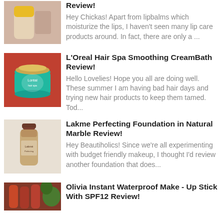[Figure (photo): Product photo of a lip balm or lip care tube held in fingers, yellow packaging visible at top left]
Review!
Hey Chickas! Apart from lipbalms which moisturize the lips, I haven't seen many lip care products around. In fact, there are only a ...
[Figure (photo): Product photo of L'Oreal Hair Spa teal/turquoise cream bath jar with gold lid on a red patterned background]
L'Oreal Hair Spa Smoothing CreamBath Review!
Hello Lovelies!   Hope you all are doing well. These summer I am having bad hair days and trying new hair products to keep them tamed. Tod...
[Figure (photo): Product photo of Lakme Perfecting Foundation bottle in Natural Marble shade, brown/golden colored bottle on light floral background]
Lakme Perfecting Foundation in Natural Marble Review!
Hey Beautiholics!   Since we're all experimenting with budget friendly makeup, I thought I'd review another foundation that does...
[Figure (photo): Product photo of Olivia Instant Waterproof Make-Up Stick with SPF12, reddish/brown stick product with green leaves in background]
Olivia Instant Waterproof Make - Up Stick With SPF12 Review!